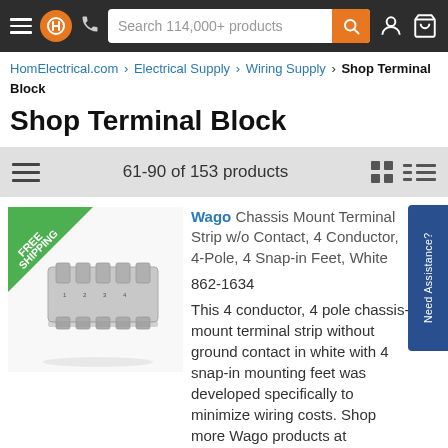HomElectrical.com > Electrical Supply > Wiring Supply > Shop Terminal Block
Shop Terminal Block
61-90 of 153 products
[Figure (photo): Wago Chassis Mount Terminal Strip product photo with FREE SHIPPING badge]
Wago Chassis Mount Terminal Strip w/o Contact, 4 Conductor, 4-Pole, 4 Snap-in Feet, White
862-1634
This 4 conductor, 4 pole chassis-mount terminal strip without ground contact in white with 4 snap-in mounting feet was developed specifically to minimize wiring costs. Shop more Wago products at HomElectrical now!